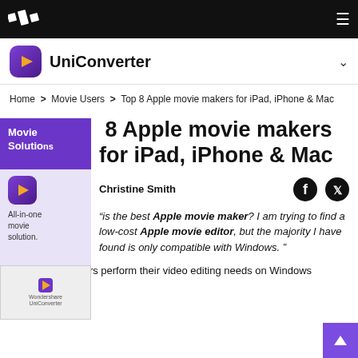UniConverter navigation bar with logo and hamburger menu
[Figure (logo): UniConverter app icon - purple rounded square with play arrow, and UniConverter label with chevron dropdown]
Home > Movie Users > Top 8 Apple movie makers for iPad, iPhone & Mac
8 Apple movie makers for iPad, iPhone & Mac
Movie Solutions (sidebar label)
[Figure (logo): UniConverter app icon small, All-in-one movie solution.]
[Figure (logo): Wondershare UniConverter ad image]
Christine Smith
"is the best Apple movie maker? I am trying to find a low-cost Apple movie editor, but the majority I have found is only compatible with Windows."
Most desktop users perform their video editing needs on Windows